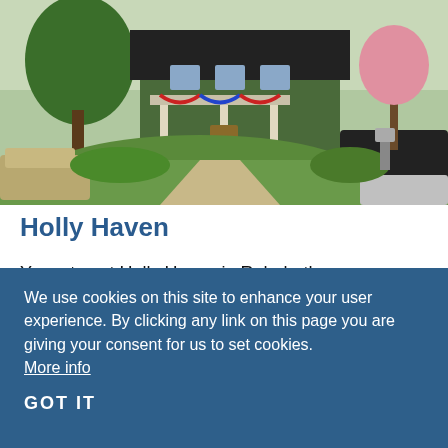[Figure (photo): Exterior photo of Holly Haven property in Rehoboth Beach, Delaware. Shows a charming house with green ivy, a covered porch with patriotic bunting, lush landscaping with trees and flowers, a concrete driveway, and cars parked on the street.]
Holly Haven
Your stay at Holly Haven in Rehoboth Beach, Delaware will be like stepping
We use cookies on this site to enhance your user experience. By clicking any link on this page you are giving your consent for us to set cookies. More info
GOT IT